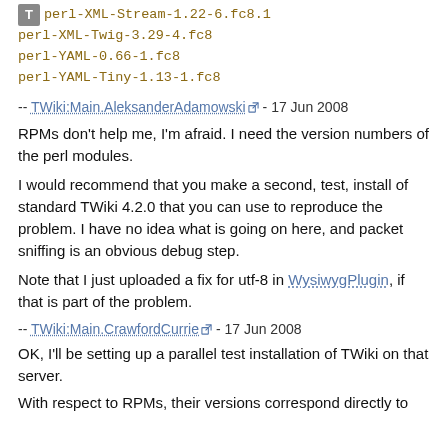perl-XML-Stream-1.22-6.fc8.1
perl-XML-Twig-3.29-4.fc8
perl-YAML-0.66-1.fc8
perl-YAML-Tiny-1.13-1.fc8
-- TWiki:Main.AleksanderAdamowski - 17 Jun 2008
RPMs don't help me, I'm afraid. I need the version numbers of the perl modules.
I would recommend that you make a second, test, install of standard TWiki 4.2.0 that you can use to reproduce the problem. I have no idea what is going on here, and packet sniffing is an obvious debug step.
Note that I just uploaded a fix for utf-8 in WysiwygPlugin, if that is part of the problem.
-- TWiki:Main.CrawfordCurrie - 17 Jun 2008
OK, I'll be setting up a parallel test installation of TWiki on that server.
With respect to RPMs, their versions correspond directly to